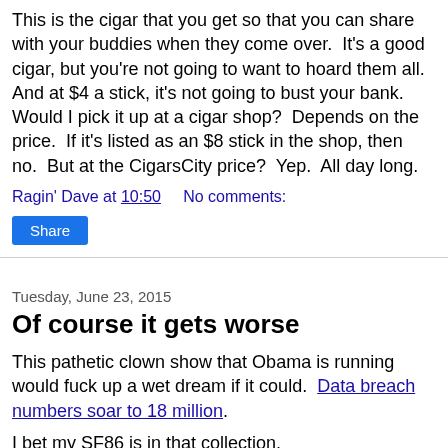This is the cigar that you get so that you can share with your buddies when they come over.  It's a good cigar, but you're not going to want to hoard them all.  And at $4 a stick, it's not going to bust your bank.  Would I pick it up at a cigar shop?  Depends on the price.  If it's listed as an $8 stick in the shop, then no.  But at the CigarsCity price?  Yep.  All day long.
Ragin' Dave at 10:50    No comments:
Share
Tuesday, June 23, 2015
Of course it gets worse
This pathetic clown show that Obama is running would fuck up a wet dream if it could.  Data breach numbers soar to 18 million.
I bet my SF86 is in that collection.